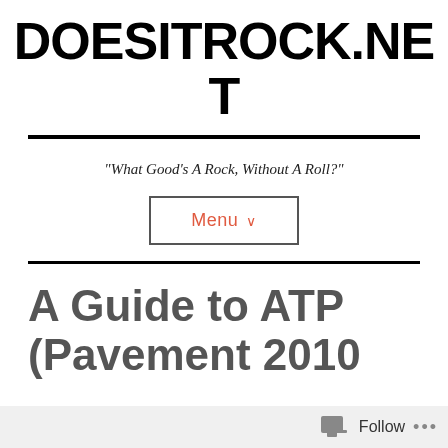DOESITROCK.NET
"What Good's A Rock, Without A Roll?"
Menu ∨
A Guide to ATP (Pavement 2010
Follow ...